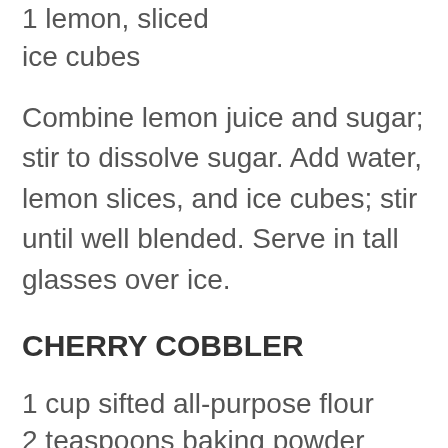1 lemon, sliced
ice cubes
Combine lemon juice and sugar; stir to dissolve sugar. Add water, lemon slices, and ice cubes; stir until well blended. Serve in tall glasses over ice.
CHERRY COBBLER
1 cup sifted all-purpose flour
2 teaspoons baking powder
1/8 teaspoon salt